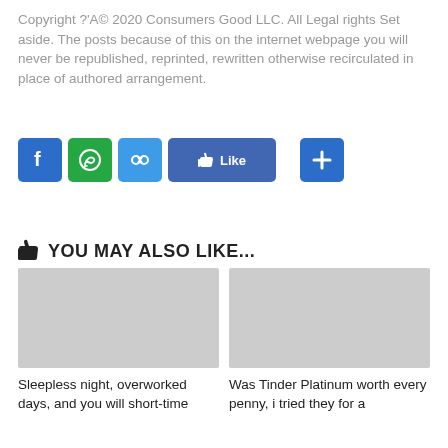Copyright ?'A© 2020 Consumers Good LLC. All Legal rights Set aside. The posts because of this on the internet webpage you will never be republished, reprinted, rewritten otherwise recirculated in place of authored arrangement.
[Figure (infographic): Social sharing buttons: Facebook (blue), WhatsApp (green), Link (blue), Like (blue), and a plus/share button (blue)]
YOU MAY ALSO LIKE...
[Figure (photo): Gray placeholder image for article: Sleepless night, overworked days, and you will short-time]
Sleepless night, overworked days, and you will short-time
[Figure (photo): Gray placeholder image for article: Was Tinder Platinum worth every penny, i tried they for a]
Was Tinder Platinum worth every penny, i tried they for a